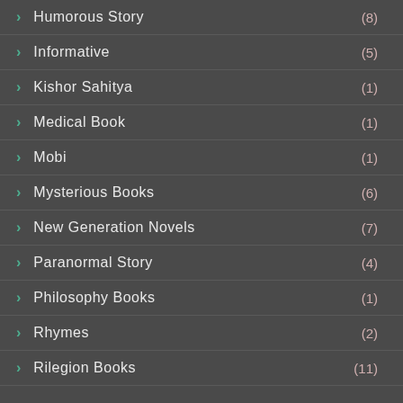Humorous Story (8)
Informative (5)
Kishor Sahitya (1)
Medical Book (1)
Mobi (1)
Mysterious Books (6)
New Generation Novels (7)
Paranormal Story (4)
Philosophy Books (1)
Rhymes (2)
Rilegion Books (11)